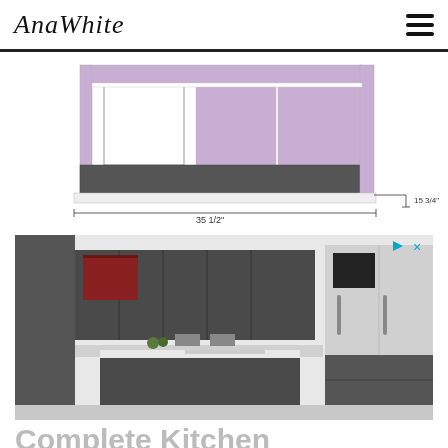AnaWhite
[Figure (engineering-diagram): Partial view of a kitchen cabinet engineering diagram with dimensions. Shows a wide cabinet unit in lavender/purple with white panels, dark gray shelving/base. Dimension lines showing 35 1/2" width and 15 3/4" depth measurements.]
[Figure (photo): Advertisement showing a modern kitchen design with dark gray flat-front cabinet doors, a kitchen island with white countertop and dark base, and a large french door refrigerator. The kitchen has a contemporary minimalist aesthetic.]
Complete Kitchen Design